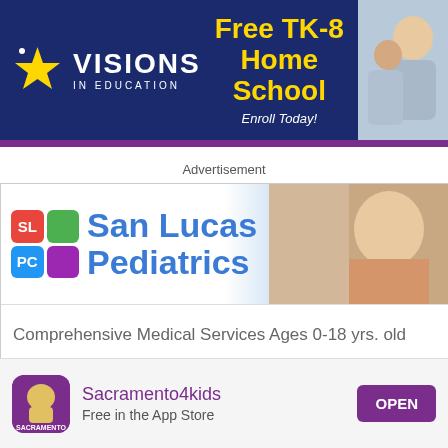[Figure (illustration): Visions in Education banner ad with star logo, 'Free TK-8 Home School Enroll Today!' text in gold/yellow, and photo of adult and child]
Advertisement
[Figure (illustration): San Lucas Pediatrics ad with SLPC logo grid, blue title text, baby photo, tagline: Comprehensive Medical Services Ages 0-18 yrs. old]
" SOCCER "
BLUES FC
[Figure (logo): Sacramento4kids app icon - purple/violet with dome building illustration]
Sacramento4kids
Free in the App Store